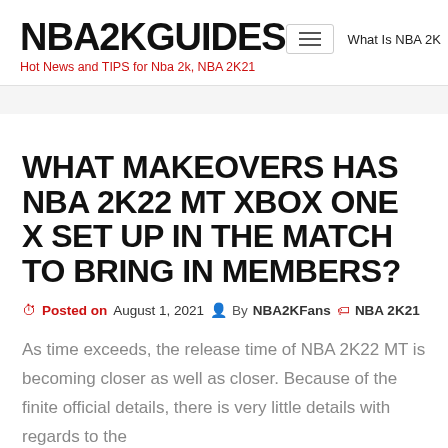NBA2KGUIDES
Hot News and TIPS for Nba 2k, NBA 2K21
WHAT MAKEOVERS HAS NBA 2K22 MT XBOX ONE X SET UP IN THE MATCH TO BRING IN MEMBERS?
Posted on August 1, 2021  By NBA2KFans  NBA 2K21
As time exceeds, the release time of NBA 2K22 MT is becoming closer as well as closer. Because of the finite official details, there is very little details with regards to the